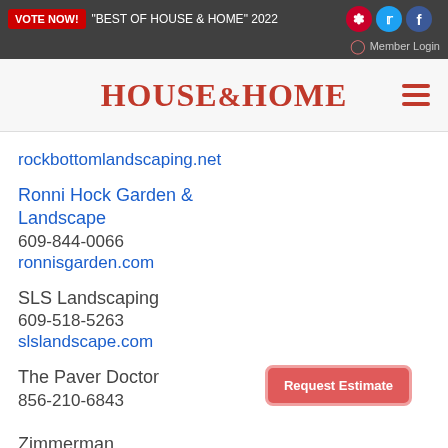VOTE NOW! "BEST OF HOUSE & HOME" 2022
HOUSE&HOME
rockbottomlandscaping.net
Ronni Hock Garden & Landscape
609-844-0066
ronnisgarden.com
SLS Landscaping
609-518-5263
slslandscape.com
The Paver Doctor
856-210-6843
Zimmerman
Request Estimate